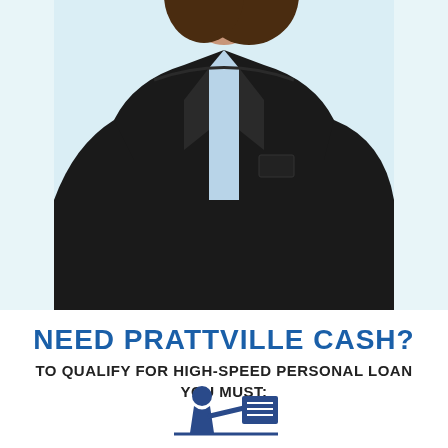[Figure (photo): A professional woman in a dark blazer over a light blue shirt, photographed from the waist up against a light blue/white background]
NEED PRATTVILLE CASH?
TO QUALIFY FOR HIGH-SPEED PERSONAL LOAN YOU MUST:
[Figure (illustration): Icon of a person sitting at a desk with a document/form, rendered in dark blue]